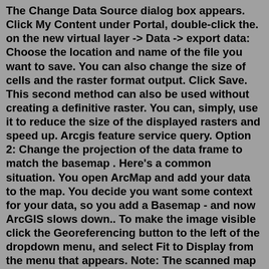The Change Data Source dialog box appears. Click My Content under Portal, double-click the. on the new virtual layer -> Data -> export data: Choose the location and name of the file you want to save. You can also change the size of cells and the raster format output. Click Save. This second method can also be used without creating a definitive raster. You can, simply, use it to reduce the size of the displayed rasters and speed up. Arcgis feature service query. Option 2: Change the projection of the data frame to match the basemap . Here's a common situation. You open ArcMap and add your data to the map. You decide you want some context for your data, so you add a Basemap - and now ArcGIS slows down.. To make the image visible click the Georeferencing button to the left of the dropdown menu, and select Fit to Display from the menu that appears. Note: The scanned map will appear with the data set as seen below, scaled to the extent of the current display - it should appear to be larger than the City of Toronto at